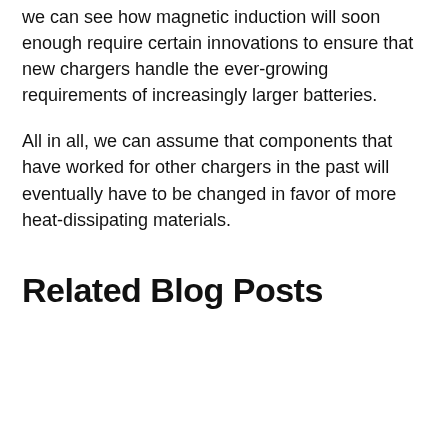we can see how magnetic induction will soon enough require certain innovations to ensure that new chargers handle the ever-growing requirements of increasingly larger batteries.
All in all, we can assume that components that have worked for other chargers in the past will eventually have to be changed in favor of more heat-dissipating materials.
Related Blog Posts